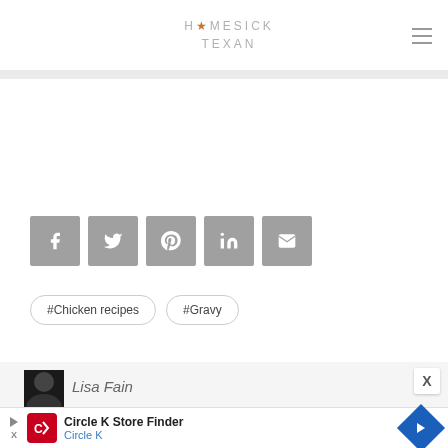HOMESICK TEXAN
[Figure (screenshot): Gray horizontal banner divider]
[Figure (infographic): Social share buttons: Facebook, Twitter, Pinterest, LinkedIn, Email]
#Chicken recipes
#Gravy
[Figure (photo): Author profile photo, dark/black image partially visible]
Lisa Fain
[Figure (screenshot): Circle K Store Finder advertisement banner with Circle K logo and navigation arrow icon]